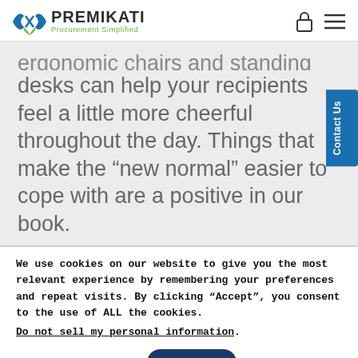PREMIKATI Procurement Simplified
ergonomic chairs and standing desks can help your recipients feel a little more cheerful throughout the day. Things that make the “new normal” easier to cope with are a positive in our book.
We use cookies on our website to give you the most relevant experience by remembering your preferences and repeat visits. By clicking “Accept”, you consent to the use of ALL the cookies.
Do not sell my personal information.
Change Preferences
I AGREE